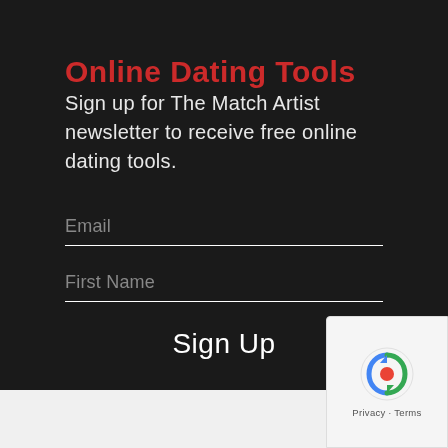Online Dating Tools
Sign up for The Match Artist newsletter to receive free online dating tools.
Email
First Name
Sign Up
[Figure (logo): Google reCAPTCHA badge with circular arrow logo and Privacy · Terms text]